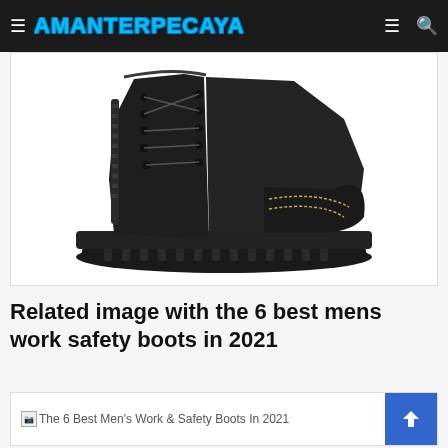≡ AMANTERPECAYA ≡ 🔍
[Figure (photo): A black leather lace-up work safety boot with yellow stitching on the toe cap, shown on a white background.]
Related image with the 6 best mens work safety boots in 2021
[Figure (photo): Broken image placeholder with alt text: The 6 Best Men's Work & Safety Boots In 2021]